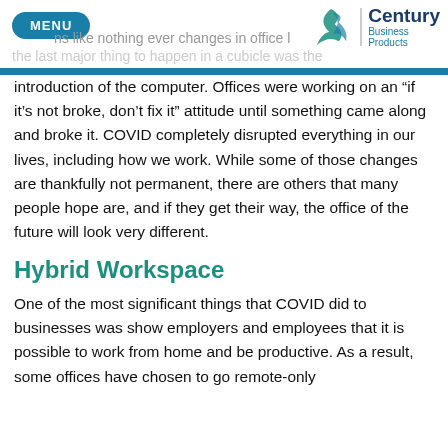MENU | Century Business Products
...ns like nothing ever changes in office life. the last major thing to happen in a cubicle was the introduction of the computer. Offices were working on an “if it’s not broke, don’t fix it” attitude until something came along and broke it. COVID completely disrupted everything in our lives, including how we work. While some of those changes are thankfully not permanent, there are others that many people hope are, and if they get their way, the office of the future will look very different.
Hybrid Workspace
One of the most significant things that COVID did to businesses was show employers and employees that it is possible to work from home and be productive. As a result, some offices have chosen to go remote-only